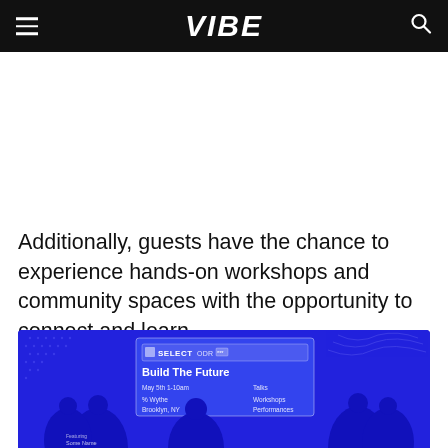VIBE
Additionally, guests have the chance to experience hands-on workshops and community spaces with the opportunity to connect and learn.
[Figure (photo): Event promotional graphic for SelectODR Build The Future event on blue background, showing silhouettes of people and event details including May 5th, 1-10pm, Talks, Workshops, Performances, at 1% Wythe, Brooklyn, NY]